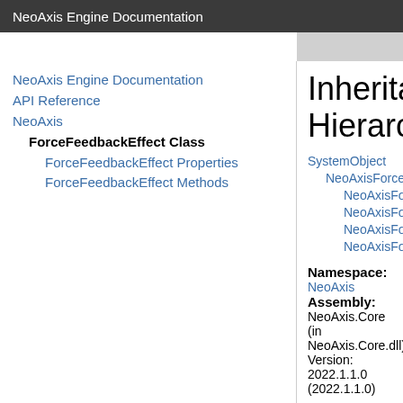NeoAxis Engine Documentation
NeoAxis Engine Documentation
API Reference
NeoAxis
ForceFeedbackEffect Class
ForceFeedbackEffect Properties
ForceFeedbackEffect Methods
Inheritance Hierarchy
SystemObject
NeoAxisForceFeed...
NeoAxisForceFee...
NeoAxisForceFee...
NeoAxisForceFee...
NeoAxisForceFee...
Namespace: NeoAxis
Assembly: NeoAxis.Core (in NeoAxis.Core.dll) Version: 2022.1.1.0 (2022.1.1.0)
Syntax
C#